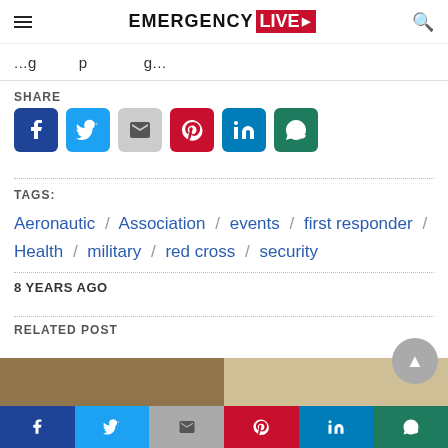EMERGENCY LIVE
...g...p...g...
SHARE
[Figure (infographic): Social share buttons: Facebook, Twitter, Gmail, Pinterest, LinkedIn, WhatsApp]
TAGS: Aeronautic / Association / events / first responder / Health / military / red cross / security
8 YEARS AGO
RELATED POST
[Figure (photo): Related post image showing typewriter/equipment]
Social share bottom bar: Facebook, Twitter, Gmail, Pinterest, LinkedIn, WhatsApp